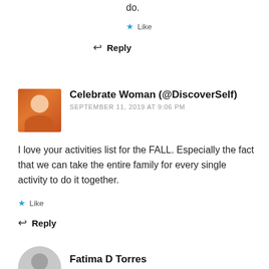do.
Like
Reply
Celebrate Woman (@DiscoverSelf)
SEPTEMBER 11, 2019 AT 9:06 PM
I love your activities list for the FALL. Especially the fact that we can take the entire family for every single activity to do it together.
Like
Reply
Fatima D Torres